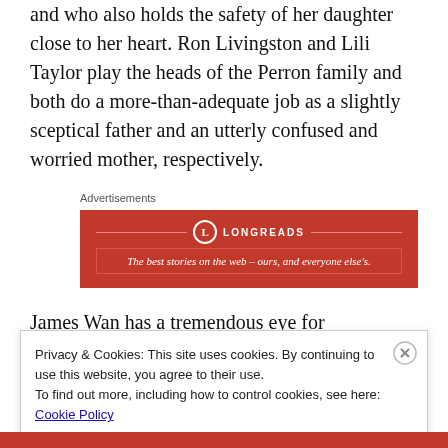and who also holds the safety of her daughter close to her heart. Ron Livingston and Lili Taylor play the heads of the Perron family and both do a more-than-adequate job as a slightly sceptical father and an utterly confused and worried mother, respectively.
Advertisements
[Figure (other): Longreads advertisement banner with red background. Logo shows a circle with L inside, text LONGREADS, and tagline: The best stories on the web – ours, and everyone else's.]
James Wan has a tremendous eye for
Privacy & Cookies: This site uses cookies. By continuing to use this website, you agree to their use.
To find out more, including how to control cookies, see here:
Cookie Policy